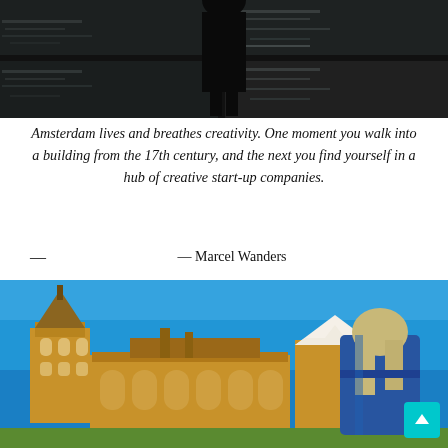[Figure (photo): A person standing in silhouette by a window with reflective water visible outside, creating a dark moody composition with paned windows.]
Amsterdam lives and breathes creativity. One moment you walk into a building from the 17th century, and the next you find yourself in a hub of creative start-up companies.
— Marcel Wanders
[Figure (photo): A woman with long hair in a denim jacket viewed from behind, looking at a historic Dutch building with a pointed tower under a bright blue sky.]